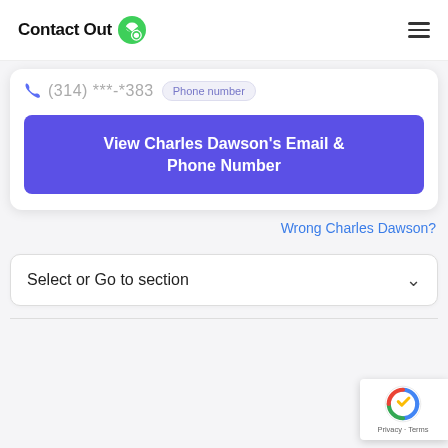ContactOut
(314) ***-*383  Phone number
View Charles Dawson's Email & Phone Number
Wrong Charles Dawson?
Select or Go to section
[Figure (logo): reCAPTCHA badge with Privacy and Terms links]